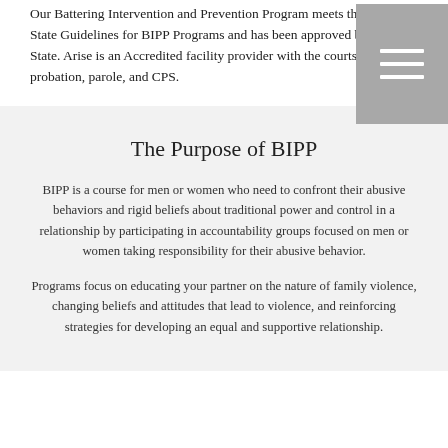Our Battering Intervention and Prevention Program meets the Texas State Guidelines for BIPP Programs and has been approved by the State. Arise is an Accredited facility provider with the courts, probation, parole, and CPS.
The Purpose of BIPP
BIPP is a course for men or women who need to confront their abusive behaviors and rigid beliefs about traditional power and control in a relationship by participating in accountability groups focused on men or women taking responsibility for their abusive behavior.
Programs focus on educating your partner on the nature of family violence, changing beliefs and attitudes that lead to violence, and reinforcing strategies for developing an equal and supportive relationship.